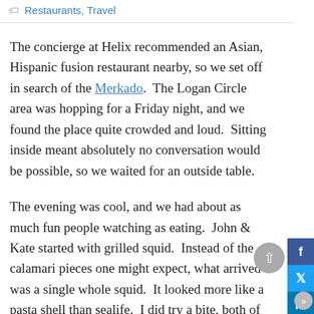Restaurants, Travel
The concierge at Helix recommended an Asian, Hispanic fusion restaurant nearby, so we set off in search of the Merkado.  The Logan Circle area was hopping for a Friday night, and we found the place quite crowded and loud.  Sitting inside meant absolutely no conversation would be possible, so we waited for an outside table.
The evening was cool, and we had about as much fun people watching as eating.  John & Kate started with grilled squid.  Instead of the calamari pieces one might expect, what arrived was a single whole squid.  It looked more like a pasta shell than sealife.  I did try a bite, both of tentacle and of body.  It initially had the texture of rubbery pasta, but I decided it wasn't for me.
The entre's were fantastic.  Mine was grouper over red